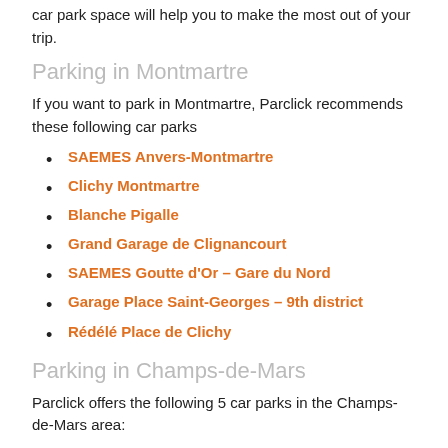car park space will help you to make the most out of your trip.
Parking in Montmartre
If you want to park in Montmartre, Parclick recommends these following car parks
SAEMES Anvers-Montmartre
Clichy Montmartre
Blanche Pigalle
Grand Garage de Clignancourt
SAEMES Goutte d'Or – Gare du Nord
Garage Place Saint-Georges – 9th district
Rédélé Place de Clichy
Parking in Champs-de-Mars
Parclick offers the following 5 car parks in the Champs-de-Mars area: